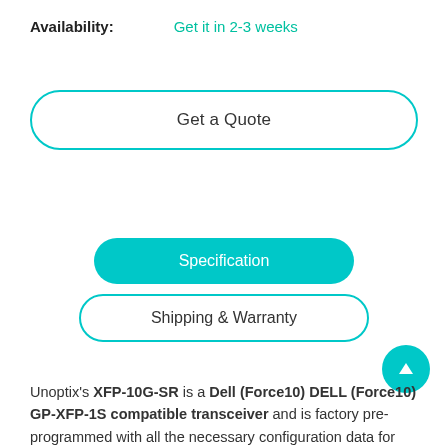Availability: Get it in 2-3 weeks
Get a Quote
Specification
Shipping & Warranty
Unoptix's XFP-10G-SR is a Dell (Force10) DELL (Force10) GP-XFP-1S compatible transceiver and is factory pre-programmed with all the necessary configuration data for